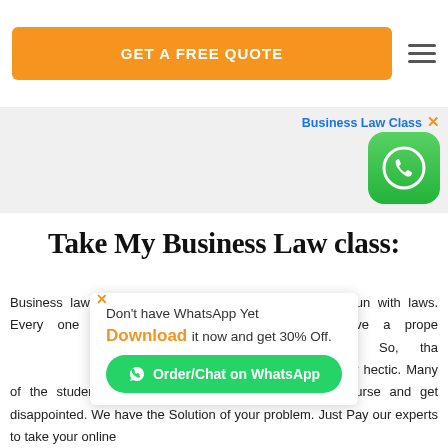GET A FREE QUOTE
Business Law Class
[Figure (logo): WhatsApp green icon]
Take My Business Law class:
Don't have WhatsApp Yet  Download it now and get 30% Off.
Order/Chat on WhatsApp
Business law is very important for every company/business that are run with laws. Every one of the students of business wants to earn future must have a proper understanding of knowledge and applications of business law. So, that is why business law is considered a tough one to take. Its assignment work is very hectic. Many of the students failed to fulfil the demands of the course and get disappointed. We have the Solution of your problem. Just Pay our experts to take your online